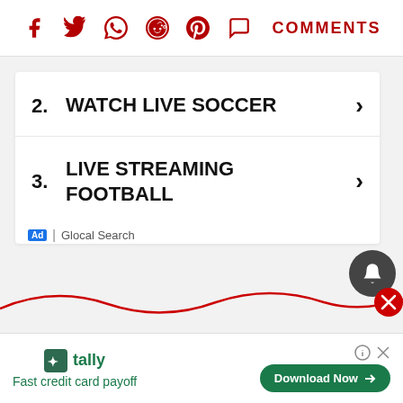[Figure (infographic): Social share bar with icons: Facebook, Twitter, WhatsApp, Reddit, Pinterest, Comments (speech bubble). Icons are dark red/crimson. COMMENTS text in crimson uppercase.]
2. WATCH LIVE SOCCER
3. LIVE STREAMING FOOTBALL
Ad | Glocal Search
[Figure (other): Dark circular bell/notification button icon on the right side]
[Figure (other): Wavy red decorative line across the page with a red circle X close button on the right]
[Figure (other): Bottom advertisement banner: Tally logo, 'Fast credit card payoff', Download Now button with arrow, help and close icons]